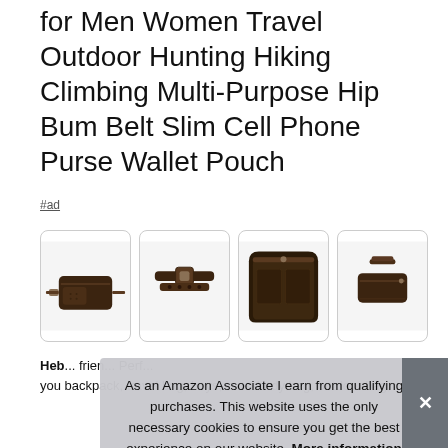for Men Women Travel Outdoor Hunting Hiking Climbing Multi-Purpose Hip Bum Belt Slim Cell Phone Purse Wallet Pouch
#ad
[Figure (photo): Four thumbnail photos of a dark brown leather fanny pack / belt bag shown from different angles: front view with strap, top-down view of strap, interior open view, and side profile view.]
Heb... frien... Perf... you backpack, travel bag, boys, crossbody bag, outdoor bag,
As an Amazon Associate I earn from qualifying purchases. This website uses the only necessary cookies to ensure you get the best experience on our website. More information